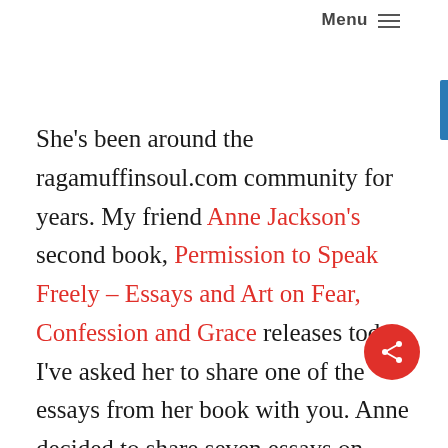Menu ≡
She's been around the ragamuffinsoul.com community for years. My friend Anne Jackson's second book, Permission to Speak Freely – Essays and Art on Fear, Confession and Grace releases today. I've asked her to share one of the essays from her book with you. Anne decided to share seven essays on seven different blogs, this being the third. For the rest of the essays, check out the links at the end.